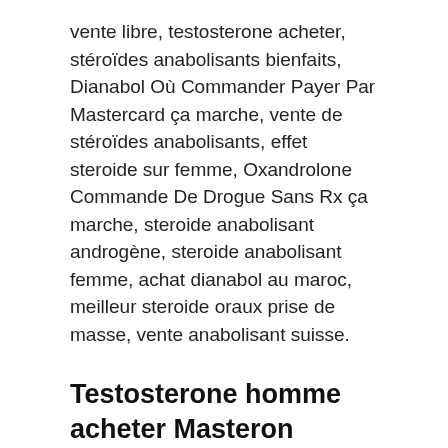vente libre, testosterone acheter, stéroïdes anabolisants bienfaits, Dianabol Où Commander Payer Par Mastercard ça marche, vente de stéroïdes anabolisants, effet steroide sur femme, Oxandrolone Commande De Drogue Sans Rx ça marche, steroide anabolisant androgène, steroide anabolisant femme, achat dianabol au maroc, meilleur steroide oraux prise de masse, vente anabolisant suisse.
Testosterone homme acheter Masteron Enanthate 100mg, stéroïdes anabolisants dangers
Trenbolone is a modified form of the nandrolone hormone. It is a favorite compound among amateur and professional bodybuilders for its ability to increase muscle hardness,